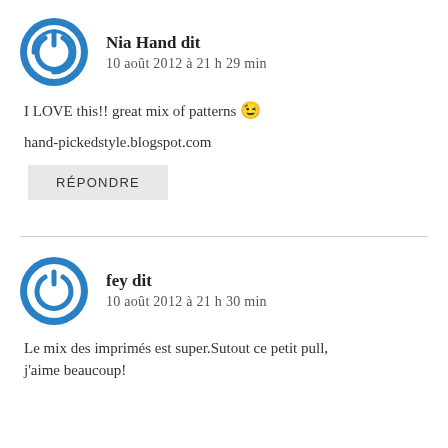Nia Hand dit
10 août 2012 à 21 h 29 min
I LOVE this!! great mix of patterns 😉
hand-pickedstyle.blogspot.com
RÉPONDRE
fey dit
10 août 2012 à 21 h 30 min
Le mix des imprimés est super.Sutout ce petit pull, j'aime beaucoup!